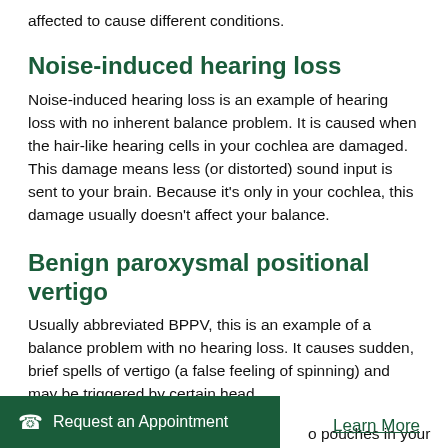affected to cause different conditions.
Noise-induced hearing loss
Noise-induced hearing loss is an example of hearing loss with no inherent balance problem. It is caused when the hair-like hearing cells in your cochlea are damaged. This damage means less (or distorted) sound input is sent to your brain. Because it’s only in your cochlea, this damage usually doesn’t affect your balance.
Benign paroxysmal positional vertigo
Usually abbreviated BPPV, this is an example of a balance problem with no hearing loss. It causes sudden, brief spells of vertigo (a false feeling of spinning) and may be triggered by certain head
o pouches in your
Request an Appointment
Learn More